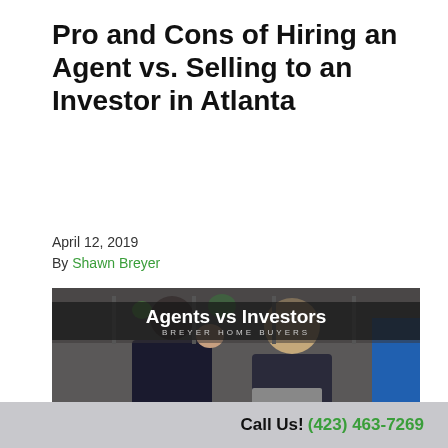Pro and Cons of Hiring an Agent vs. Selling to an Investor in Atlanta
April 12, 2019
By Shawn Breyer
[Figure (photo): Photo of two women in a business meeting, overlaid with text 'Agents vs Investors' and subtitle 'BREYER HOME BUYERS']
Call Us! (423) 463-7269